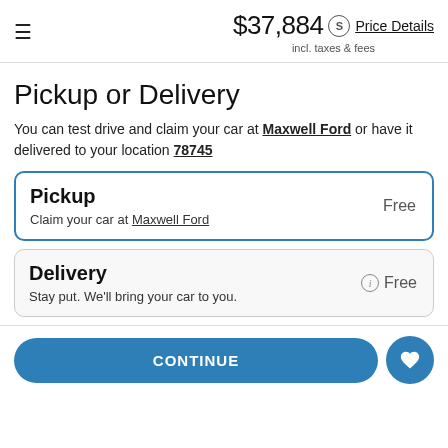≡  $37,884 incl. taxes & fees  ⓢ Price Details
Pickup or Delivery
You can test drive and claim your car at Maxwell Ford or have it delivered to your location 78745
Pickup  Free
Claim your car at Maxwell Ford
Delivery  ⓘ Free
Stay put. We'll bring your car to you.
CONTINUE